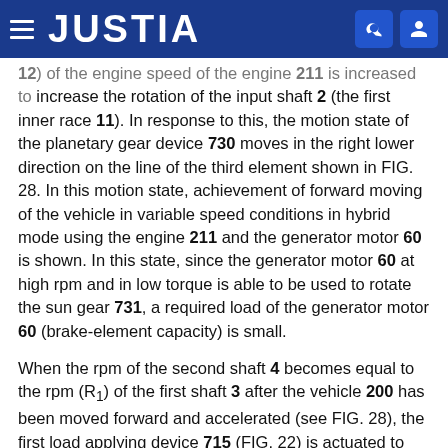JUSTIA
12) of the engine speed of the engine 211 is increased to increase the rotation of the input shaft 2 (the first inner race 11). In response to this, the motion state of the planetary gear device 730 moves in the right lower direction on the line of the third element shown in FIG. 28. In this motion state, achievement of forward moving of the vehicle in variable speed conditions in hybrid mode using the engine 211 and the generator motor 60 is shown. In this state, since the generator motor 60 at high rpm and in low torque is able to be used to rotate the sun gear 731, a required load of the generator motor 60 (brake-element capacity) is small.
When the rpm of the second shaft 4 becomes equal to the rpm (R1) of the first shaft 3 after the vehicle 200 has been moved forward and accelerated (see FIG. 28), the first load applying device 715 (FIG. 22) is actuated to engage the first sprage 712 and the second sprage 722...